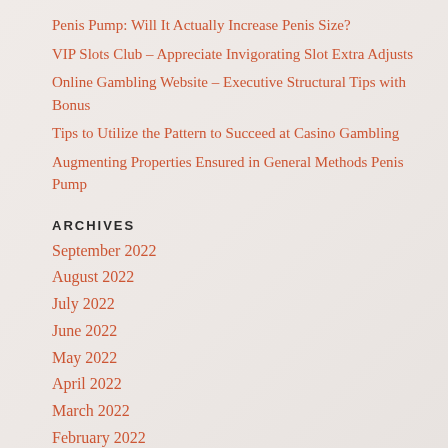Penis Pump: Will It Actually Increase Penis Size?
VIP Slots Club – Appreciate Invigorating Slot Extra Adjusts
Online Gambling Website – Executive Structural Tips with Bonus
Tips to Utilize the Pattern to Succeed at Casino Gambling
Augmenting Properties Ensured in General Methods Penis Pump
ARCHIVES
September 2022
August 2022
July 2022
June 2022
May 2022
April 2022
March 2022
February 2022